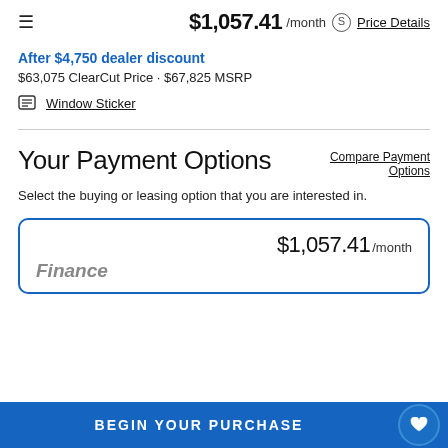$1,057.41 /month  Price Details
After $4,750 dealer discount
$63,075 ClearCut Price · $67,825 MSRP
Window Sticker
Your Payment Options
Compare Payment Options
Select the buying or leasing option that you are interested in.
$1,057.41 /month
Finance
BEGIN YOUR PURCHASE